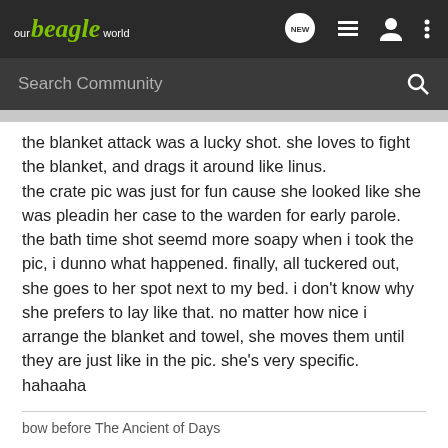our beagle world — navigation bar with logo and icons
Search Community
the blanket attack was a lucky shot. she loves to fight the blanket, and drags it around like linus.
the crate pic was just for fun cause she looked like she was pleadin her case to the warden for early parole.
the bath time shot seemd more soapy when i took the pic, i dunno what happened. finally, all tuckered out, she goes to her spot next to my bed. i don't know why she prefers to lay like that. no matter how nice i arrange the blanket and towel, she moves them until they are just like in the pic. she's very specific. hahaaha
bow before The Ancient of Days